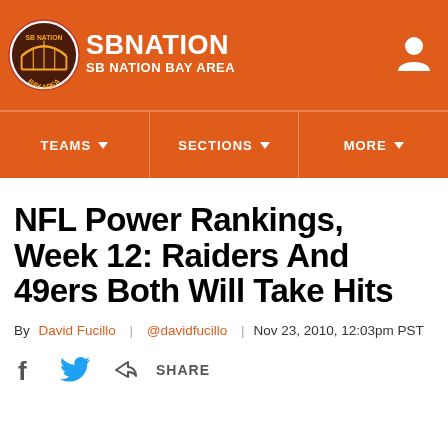SB NATION | SB NATION BAY AREA
NFL Power Rankings, Week 12: Raiders And 49ers Both Will Take Hits
By David Fucillo | @davidfucillo | Nov 23, 2010, 12:03pm PST
SHARE